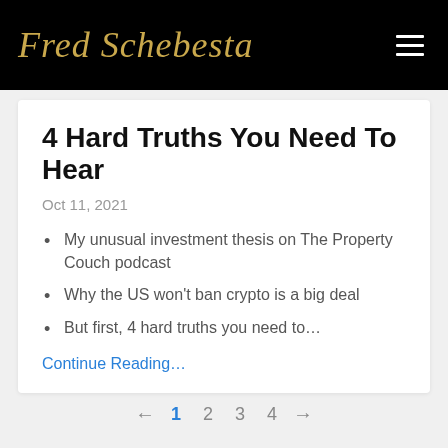Fred Schebesta
4 Hard Truths You Need To Hear
Oct 11, 2021
My unusual investment thesis on The Property Couch podcast
Why the US won't ban crypto is a big deal
But first, 4 hard truths you need to...
Continue Reading...
← 1 2 3 4 →